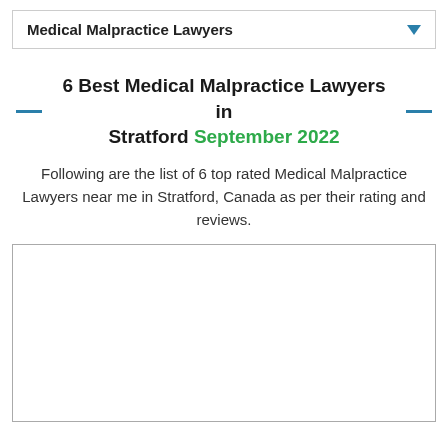Medical Malpractice Lawyers
6 Best Medical Malpractice Lawyers in Stratford September 2022
Following are the list of 6 top rated Medical Malpractice Lawyers near me in Stratford, Canada as per their rating and reviews.
[Figure (other): Empty white content box with border, likely an advertisement or map placeholder]